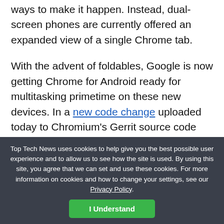ways to make it happen. Instead, dual-screen phones are currently offered an expanded view of a single Chrome tab.
With the advent of foldables, Google is now getting Chrome for Android ready for multitasking primetime on these new devices. In a new code change uploaded today to Chromium's Gerrit source code management, work has properly begun to use Chrome across multiple displays, building on early work started in 2018 for early dual-screen phones like the ZTE Axon M.
According to the code change's description, you'll be able
Top Tech News uses cookies to help give you the best possible user experience and to allow us to see how the site is used. By using this site, you agree that we can set and use these cookies. For more information on cookies and how to change your settings, see our Privacy Policy.
I Understand